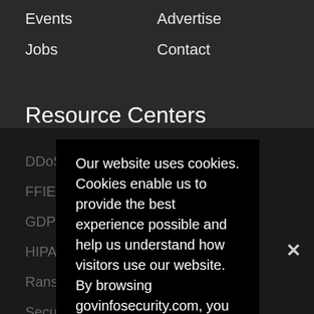Events
Advertise
Jobs
Contact
Resource Centers
DDoS Resource Center
FFIEC Authentication Guidance
GDPR
HIPAA Omnibus Rule
Ransomware
Security Intelligence
COVID-19
Our website uses cookies. Cookies enable us to provide the best experience possible and help us understand how visitors use our website. By browsing govinfosecurity.com, you agree to our use of cookies.